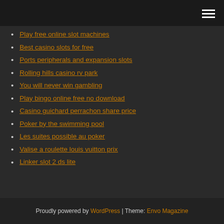[hamburger menu icon]
Play free online slot machines
Best casino slots for free
Ports peripherals and expansion slots
Rolling hills casino rv park
You will never win gambling
Play bingo online free no download
Casino guichard perrachon share price
Poker by the swimming pool
Les suites possible au poker
Valise a roulette louis vuitton prix
Linker slot 2 ds lite
Proudly powered by WordPress | Theme: Envo Magazine